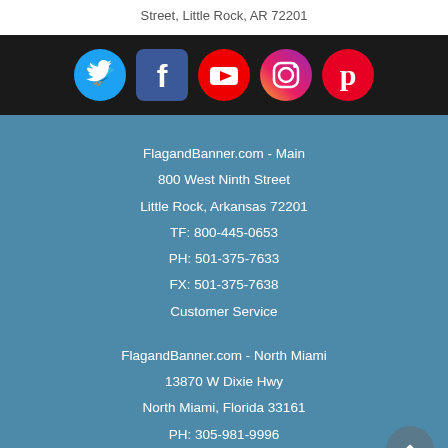Street, Little Rock, AR 72201
[Figure (illustration): Row of social media icons: Twitter (blue circle), Facebook (blue square), YouTube (red circle), Instagram (gradient circle), Pinterest (red circle) on dark background]
FlagandBanner.com - Main
800 West Ninth Street
Little Rock, Arkansas 72201
TF: 800-445-0653
PH: 501-375-7633
FX: 501-375-7638
Customer Service
FlagandBanner.com - North Miami
13870 W Dixie Hwy
North Miami, Florida 33161
PH: 305-981-9996